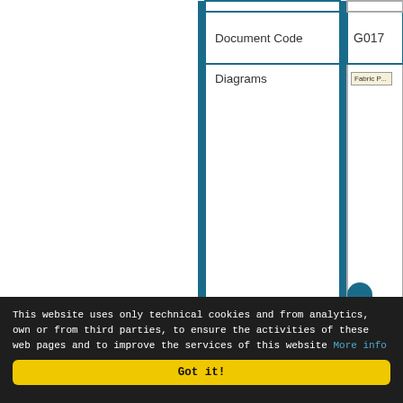|  | Document Code | G017 |
| --- | --- | --- |
|  | Document Code | G017 |
|  | Diagrams | Fabric P... |
[Figure (schematic): Small thumbnail diagram labeled 'Fabric P' in the right column of the table]
This website uses only technical cookies and from analytics, own or from third parties, to ensure the activities of these web pages and to improve the services of this website More info
Got it!